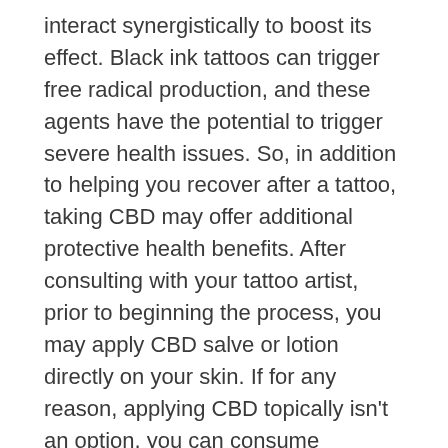interact synergistically to boost its effect. Black ink tattoos can trigger free radical production, and these agents have the potential to trigger severe health issues. So, in addition to helping you recover after a tattoo, taking CBD may offer additional protective health benefits. After consulting with your tattoo artist, prior to beginning the process, you may apply CBD salve or lotion directly on your skin. If for any reason, applying CBD topically isn't an option, you can consume cannabidiol in the form of a tincture, capsule, or drink concentrate.
Most people get enough lysine in their diets, but those who do not may experience fatigue, nausea, dizziness, loss of appetite, agitation, bloodshot eyes, anemia, and reproductive challenges.
When this happens, your body tries to fight back but the presence of the herpes virus in your body may no